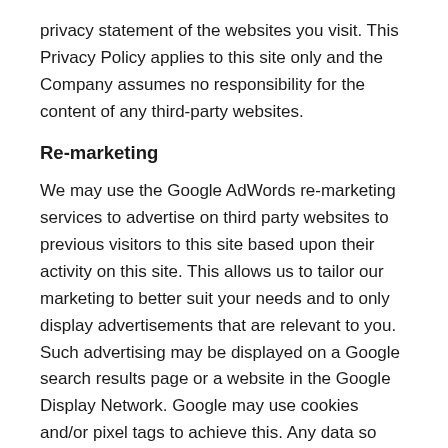privacy statement of the websites you visit. This Privacy Policy applies to this site only and the Company assumes no responsibility for the content of any third-party websites.
Re-marketing
We may use the Google AdWords re-marketing services to advertise on third party websites to previous visitors to this site based upon their activity on this site. This allows us to tailor our marketing to better suit your needs and to only display advertisements that are relevant to you. Such advertising may be displayed on a Google search results page or a website in the Google Display Network. Google may use cookies and/or pixel tags to achieve this. Any data so collected by Google will be used in accordance with their own respective privacy policies. None of your personal Google information is reported to us.